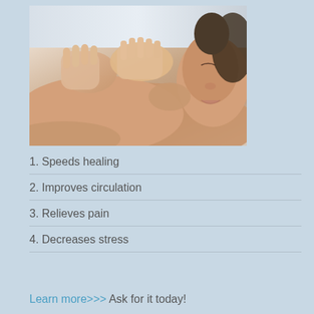[Figure (photo): A woman receiving a back/neck massage, lying face down with eyes closed, hands of a massage therapist visible applying pressure to her upper back and neck area. Warm skin tones, blurred background.]
1. Speeds healing
2. Improves circulation
3. Relieves pain
4. Decreases stress
Learn more>>> Ask for it today!